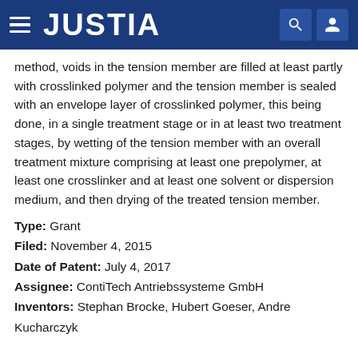JUSTIA
method, voids in the tension member are filled at least partly with crosslinked polymer and the tension member is sealed with an envelope layer of crosslinked polymer, this being done, in a single treatment stage or in at least two treatment stages, by wetting of the tension member with an overall treatment mixture comprising at least one prepolymer, at least one crosslinker and at least one solvent or dispersion medium, and then drying of the treated tension member.
Type: Grant
Filed: November 4, 2015
Date of Patent: July 4, 2017
Assignee: ContiTech Antriebssysteme GmbH
Inventors: Stephan Brocke, Hubert Goeser, Andre Kucharczyk